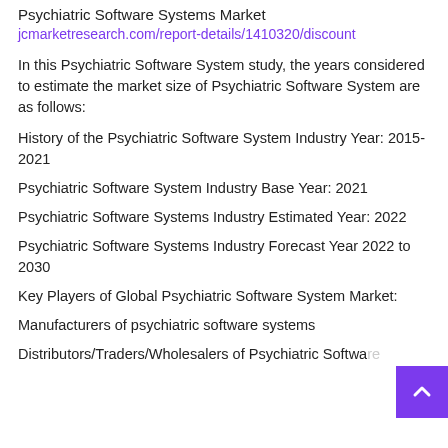Psychiatric Software Systems Market
jcmarketresearch.com/report-details/1410320/discount
In this Psychiatric Software System study, the years considered to estimate the market size of Psychiatric Software System are as follows:
History of the Psychiatric Software System Industry Year: 2015-2021
Psychiatric Software System Industry Base Year: 2021
Psychiatric Software Systems Industry Estimated Year: 2022
Psychiatric Software Systems Industry Forecast Year 2022 to 2030
Key Players of Global Psychiatric Software System Market:
Manufacturers of psychiatric software systems
Distributors/Traders/Wholesalers of Psychiatric Software...